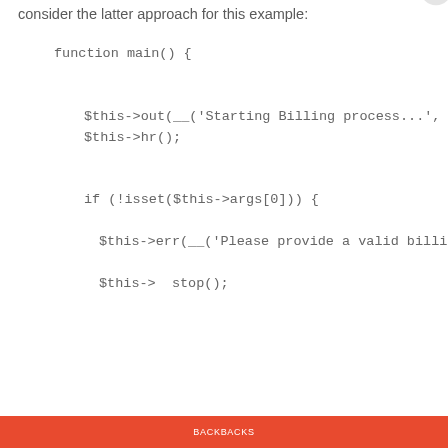consider the latter approach for this example:
function main() {

    $this->out(__('Starting Billing process...', true));
    $this->hr();


    if (!isset($this->args[0])) {

      $this->err(__('Please provide a valid billing round', true

      $this->  stop();
Privacy & Cookies: This site uses cookies. By continuing to use this website, you agree to their use.
To find out more, including how to control cookies, see here: Cookie Policy
Close and accept